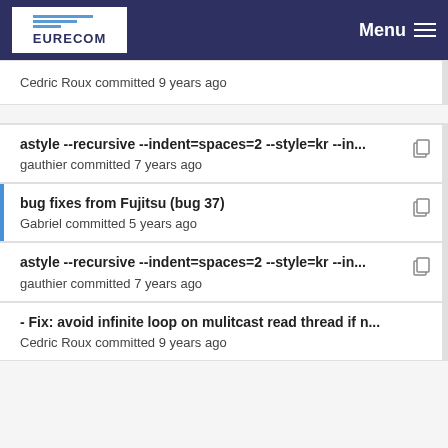EURECOM Menu
Cedric Roux committed 9 years ago
astyle --recursive --indent=spaces=2 --style=kr --in... gauthier committed 7 years ago
bug fixes from Fujitsu (bug 37) Gabriel committed 5 years ago
astyle --recursive --indent=spaces=2 --style=kr --in... gauthier committed 7 years ago
- Fix: avoid infinite loop on mulitcast read thread if n... Cedric Roux committed 9 years ago